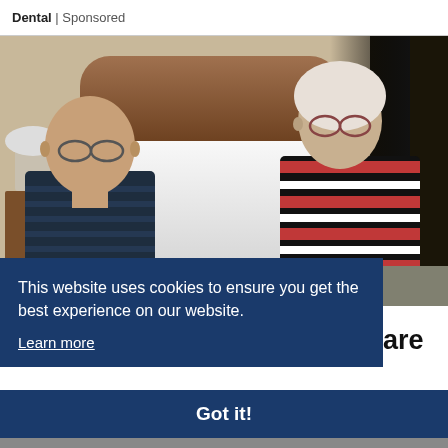Dental | Sponsored
[Figure (photo): Elderly couple (man in striped polo shirt with glasses, woman with white hair in red/black striped top with glasses) sitting on edge of a bed with wooden headboard in a bedroom.]
This website uses cookies to ensure you get the best experience on our website.
Learn more
are
Got it!